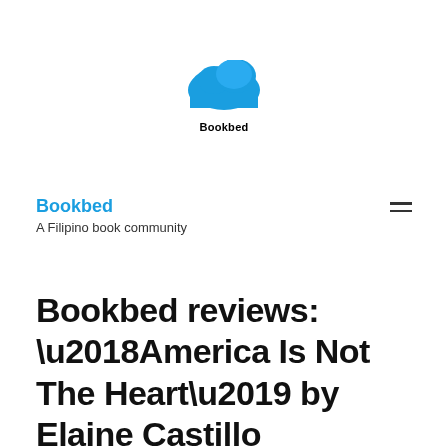[Figure (logo): Bookbed cloud logo with bold text 'Bookbed' below it, centered at top of page]
Bookbed
A Filipino book community
Bookbed reviews: ‘America Is Not The Heart’ by Elaine Castillo